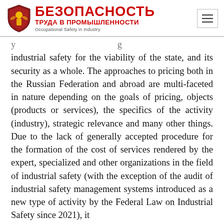БЕЗОПАСНОСТЬ ТРУДА В ПРОМЫШЛЕННОСТИ — Occupational Safety in Industry
industrial safety for the viability of the state, and its security as a whole. The approaches to pricing both in the Russian Federation and abroad are multi-faceted in nature depending on the goals of pricing, objects (products or services), the specifics of the activity (industry), strategic relevance and many other things. Due to the lack of generally accepted procedure for the formation of the cost of services rendered by the expert, specialized and other organizations in the field of industrial safety (with the exception of the audit of industrial safety management systems introduced as a new type of activity by the Federal Law on Industrial Safety since 2021), it